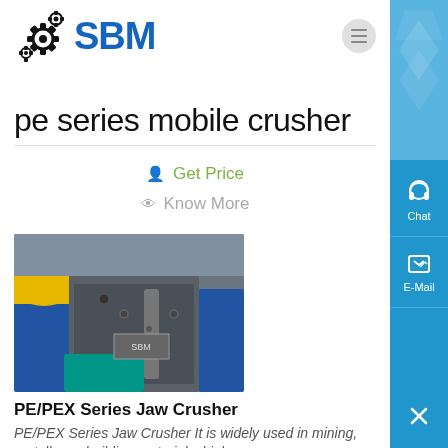SBM
pe series mobile crusher
Get Price
Know More
[Figure (photo): PE/PEX Series Jaw Crusher machine being operated by a person in blue overalls and white gloves]
PE/PEX Series Jaw Crusher
PE/PEX Series Jaw Crusher It is widely used in mining, metallurgy, building materials, highway,